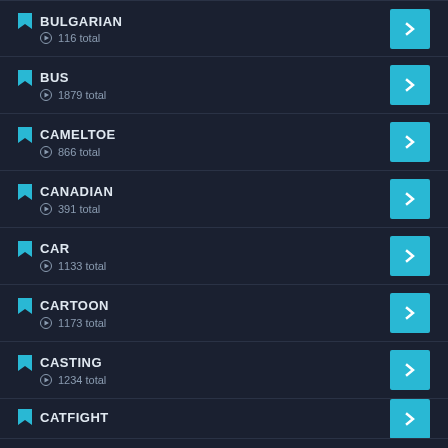BULGARIAN — 116 total
BUS — 1879 total
CAMELTOE — 866 total
CANADIAN — 391 total
CAR — 1133 total
CARTOON — 1173 total
CASTING — 1234 total
CATFIGHT — (partial)